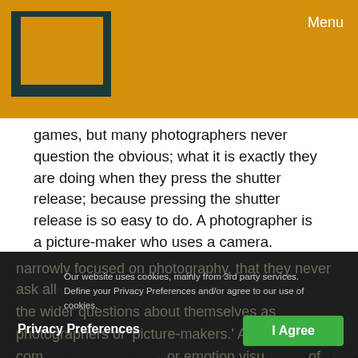[Figure (logo): Photography website logo: nested rectangle frames in dark teal/green on orange background]
Menu
games, but many photographers never question the obvious; what it is exactly they are doing when they press the shutter release; because pressing the shutter release is so easy to do. A photographer is a picture-maker who uses a camera. Obviously, they ‘see’ their pictures, but they concentrate too much on judging the technical quality and not enough on judging the picture quality. They are too
narrowly focused on photography, that they never ask all the wider questions about themselves as photographers or ‘picture-makers.’ A picture is com Privacy Preferences or emotion visu of what medium is being used to create it. At its very core,
Our website uses cookies, mainly from 3rd party services. Define your Privacy Preferences and/or agree to our use of cookies.
Privacy Preferences
I Agree
it’s visual communication. Visual – Means understanding